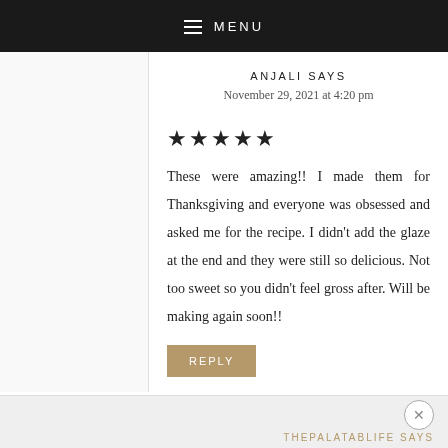MENU
ANJALI SAYS
November 29, 2021 at 4:20 pm
★★★★★ These were amazing!! I made them for Thanksgiving and everyone was obsessed and asked me for the recipe. I didn't add the glaze at the end and they were still so delicious. Not too sweet so you didn't feel gross after. Will be making again soon!!
REPLY
THEPALATABLIFE SAYS